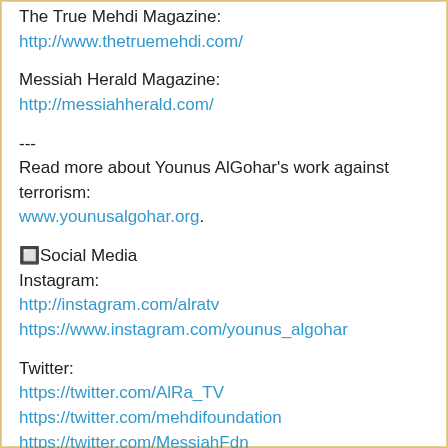The True Mehdi Magazine:
http://www.thetruemehdi.com/
Messiah Herald Magazine:
http://messiahherald.com/
---
Read more about Younus AlGohar's work against terrorism:
www.younusalgohar.org.
🔲Social Media
Instagram:
http://instagram.com/alratv
https://www.instagram.com/younus_algohar
Twitter:
https://twitter.com/AlRa_TV
https://twitter.com/mehdifoundation
https://twitter.com/MessiahFdn
https://twitter.com/younusalgohar
Facebook:
https://www.facebook.com/alratv